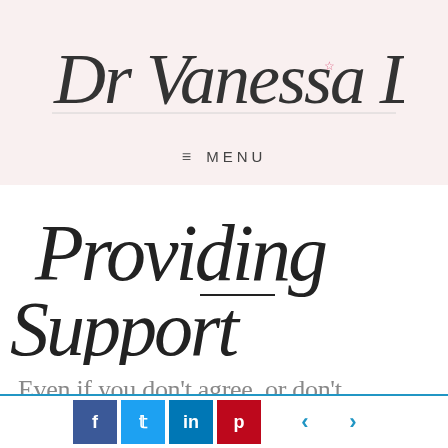[Figure (logo): Dr Vanessa Lapointe cursive signature logo with small pink star accent]
≡  MENU
Providing Support (cursive script illustration)
Even if you don't agree, or don't
Social share buttons: Facebook, Twitter, LinkedIn, Pinterest; navigation arrows left and right